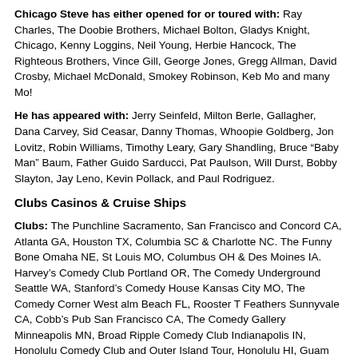Chicago Steve has either opened for or toured with: Ray Charles, The Doobie Brothers, Michael Bolton, Gladys Knight, Chicago, Kenny Loggins, Neil Young, Herbie Hancock, The Righteous Brothers, Vince Gill, George Jones, Gregg Allman, David Crosby, Michael McDonald, Smokey Robinson, Keb Mo and many Mo!
He has appeared with: Jerry Seinfeld, Milton Berle, Gallagher, Dana Carvey, Sid Ceasar, Danny Thomas, Whoopie Goldberg, Jon Lovitz, Robin Williams, Timothy Leary, Gary Shandling, Bruce "Baby Man" Baum, Father Guido Sarducci, Pat Paulson, Will Durst, Bobby Slayton, Jay Leno, Kevin Pollack, and Paul Rodriguez.
Clubs Casinos & Cruise Ships
Clubs: The Punchline Sacramento, San Francisco and Concord CA, Atlanta GA, Houston TX, Columbia SC & Charlotte NC. The Funny Bone Omaha NE, St Louis MO, Columbus OH & Des Moines IA. Harvey's Comedy Club Portland OR, The Comedy Underground Seattle WA, Stanford's Comedy House Kansas City MO, The Comedy Corner West alm Beach FL, Rooster T Feathers Sunnyvale CA, Cobb's Pub San Francisco CA, The Comedy Gallery Minneapolis MN, Broad Ripple Comedy Club Indianapolis IN, Honolulu Comedy Club and Outer Island Tour, Honolulu HI, Guam Comedy Tour, Guam
Casinos: Harvey's Lake Tahoe, Harrah's Lake Tahoe, Reno & Laughlin NV. & North Kansas MO. Casino Magic Biloxi MS, Red Lion Casino Elko NV, The Sands Reno NV, Claridge House Casino Atlantic City NJ